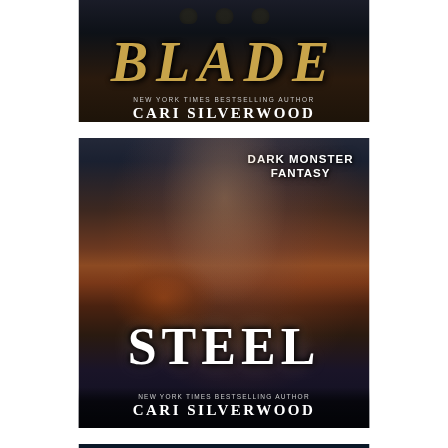[Figure (illustration): Book cover for 'BLADE' by Cari Silverwood, New York Times Bestselling Author. Dark fantasy cover with title in metallic letters. Partially cropped at top.]
[Figure (illustration): Book cover for 'STEEL' by Cari Silverwood, New York Times Bestselling Author. Dark Monster Fantasy series. Shows a muscular male figure with dark chains/monster elements against a stormy background. Title 'STEEL' in large white letters.]
[Figure (illustration): Book cover for a third Dark Monster Fantasy book by Cari Silverwood, partially visible at bottom. Shows a woman in dark outfit flanked by large blue-textured monster hands/claws, with text 'DARK MONSTER FANTASY'.]